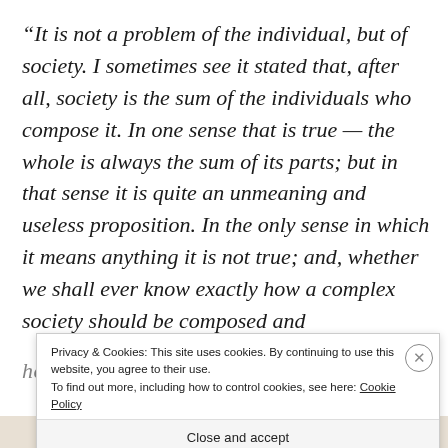“It is not a problem of the individual, but of society. I sometimes see it stated that, after all, society is the sum of the individuals who compose it. In one sense that is true — the whole is always the sum of its parts; but in that sense it is quite an unmeaning and useless proposition. In the only sense in which it means anything it is not true; and, whether we shall ever know exactly how a complex society should be composed and how we ought to lead up to its proper composition
Privacy & Cookies: This site uses cookies. By continuing to use this website, you agree to their use.
To find out more, including how to control cookies, see here: Cookie Policy
Close and accept